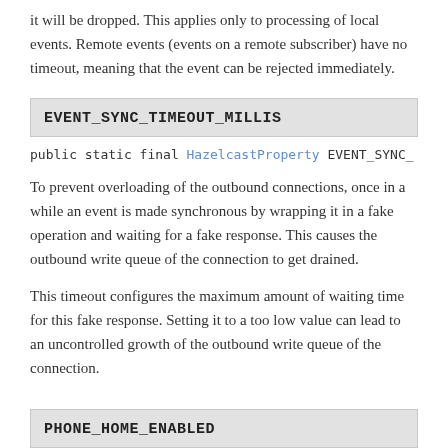it will be dropped. This applies only to processing of local events. Remote events (events on a remote subscriber) have no timeout, meaning that the event can be rejected immediately.
EVENT_SYNC_TIMEOUT_MILLIS
public static final HazelcastProperty EVENT_SYNC_
To prevent overloading of the outbound connections, once in a while an event is made synchronous by wrapping it in a fake operation and waiting for a fake response. This causes the outbound write queue of the connection to get drained.
This timeout configures the maximum amount of waiting time for this fake response. Setting it to a too low value can lead to an uncontrolled growth of the outbound write queue of the connection.
PHONE_HOME_ENABLED